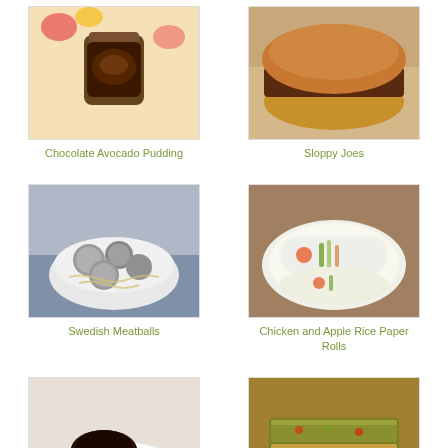[Figure (photo): Chocolate Avocado Pudding in a jar on floral background]
Chocolate Avocado Pudding
[Figure (photo): Sloppy Joes on a bun with ground meat topping]
Sloppy Joes
[Figure (photo): Swedish Meatballs in a white bowl with pasta]
Swedish Meatballs
[Figure (photo): Chicken and Apple Rice Paper Rolls on a plate]
Chicken and Apple Rice Paper Rolls
[Figure (photo): Chocolate dessert with raspberries on a plate]
[Figure (photo): Frittata or vegetable egg bake sliced]